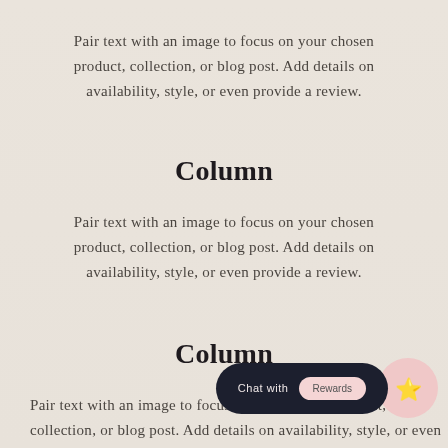Pair text with an image to focus on your chosen product, collection, or blog post. Add details on availability, style, or even provide a review.
Column
Pair text with an image to focus on your chosen product, collection, or blog post. Add details on availability, style, or even provide a review.
Column
Pair text with an image to focus on your chosen product, collection, or blog post. Add details on availability, style, or even provide a review.